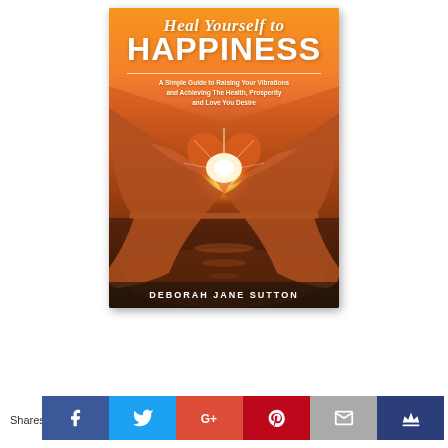[Figure (illustration): Book cover: 'Heal Yourself to HAPPINESS' by Deborah Jane Sutton. Orange gradient top with title, subtitle 'A Simple Guide to Raising Your Vibrations and Achieving The Health, Prosperity and Love You Desire', photo of two hands forming a heart shape with glowing sunset light, dark author name bar at bottom.]
Shares
[Figure (infographic): Social sharing bar with icons for Facebook (blue), Twitter (light blue), Google+ (red), Pinterest (dark red), Email (grey), Crown/bookmark (dark blue)]